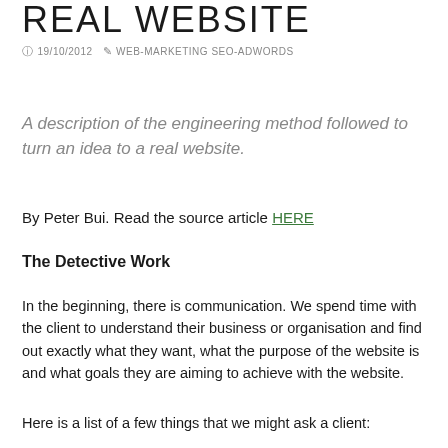REAL WEBSITE
19/10/2012  WEB-MARKETING SEO-ADWORDS
A description of the engineering method followed to turn an idea to a real website.
By Peter Bui. Read the source article HERE
The Detective Work
In the beginning, there is communication. We spend time with the client to understand their business or organisation and find out exactly what they want, what the purpose of the website is and what goals they are aiming to achieve with the website.
Here is a list of a few things that we might ask a client: